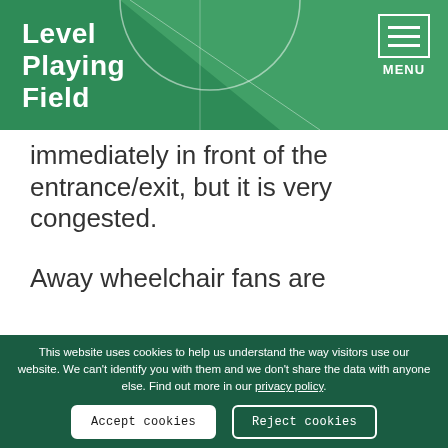Level Playing Field
immediately in front of the entrance/exit, but it is very congested.
Away wheelchair fans are
This website uses cookies to help us understand the way visitors use our website. We can't identify you with them and we don't share the data with anyone else. Find out more in our privacy policy.
Accept cookies
Reject cookies